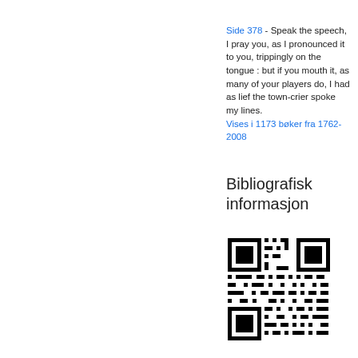Side 378 - Speak the speech, I pray you, as I pronounced it to you, trippingly on the tongue : but if you mouth it, as many of your players do, I had as lief the town-crier spoke my lines. Vises i 1173 bøker fra 1762-2008
Bibliografisk informasjon
[Figure (other): QR code for bibliographic information]